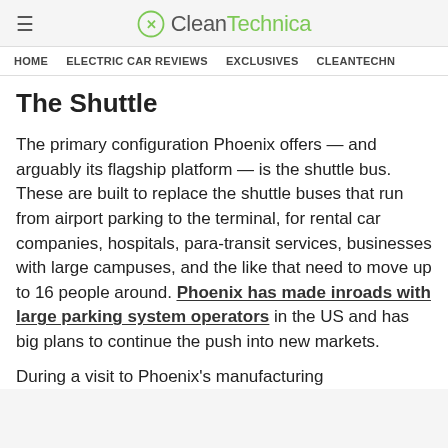≡ CleanTechnica
HOME   ELECTRIC CAR REVIEWS   EXCLUSIVES   CLEANTECHN
The Shuttle
The primary configuration Phoenix offers — and arguably its flagship platform — is the shuttle bus. These are built to replace the shuttle buses that run from airport parking to the terminal, for rental car companies, hospitals, para-transit services, businesses with large campuses, and the like that need to move up to 16 people around. Phoenix has made inroads with large parking system operators in the US and has big plans to continue the push into new markets.
During a visit to Phoenix's manufacturing